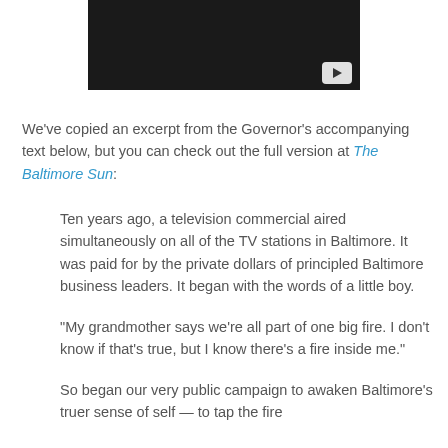[Figure (screenshot): Black video thumbnail with YouTube play button in the bottom right corner]
We've copied an excerpt from the Governor's accompanying text below, but you can check out the full version at The Baltimore Sun:
Ten years ago, a television commercial aired simultaneously on all of the TV stations in Baltimore. It was paid for by the private dollars of principled Baltimore business leaders. It began with the words of a little boy.
"My grandmother says we're all part of one big fire. I don't know if that's true, but I know there's a fire inside me."
So began our very public campaign to awaken Baltimore's truer sense of self — to tap the fire